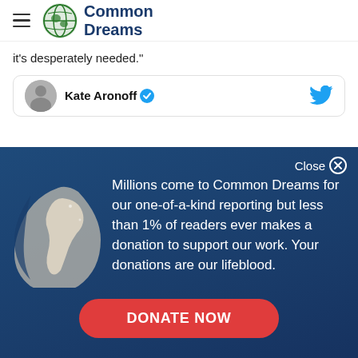Common Dreams
it's desperately needed."
[Figure (screenshot): Tweet card showing Kate Aronoff with verified badge and Twitter bird icon]
Millions come to Common Dreams for our one-of-a-kind reporting but less than 1% of readers ever makes a donation to support our work. Your donations are our lifeblood.
DONATE NOW